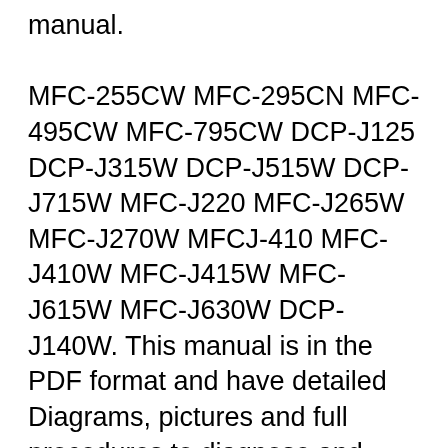manual. MFC-255CW MFC-295CN MFC-495CW MFC-795CW DCP-J125 DCP-J315W DCP-J515W DCP-J715W MFC-J220 MFC-J265W MFC-J270W MFCJ-410 MFC-J410W MFC-J415W MFC-J615W MFC-J630W DCP-J140W. This manual is in the PDF format and have detailed Diagrams, pictures and full procedures to diagnose and repair your Brother. You can print, zoom or read any diagram, picture or 12/7/2018 · Using Brother MFC-J410 Printer Service Manual and Parts Catalog, you will be able to get answer of common questions regarding equipment like: How to open and clean Brother MFC-J410 P? How to fix broken